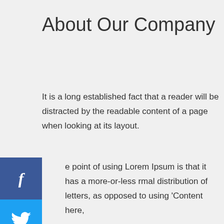About Our Company
It is a long established fact that a reader will be distracted by the readable content of a page when looking at its layout.
e point of using Lorem Ipsum is that it has a more-or-less rmal distribution of letters, as opposed to using 'Content here,
ategories
CAREER
Consulting Marketing
Digital Marketing
EDUCATION